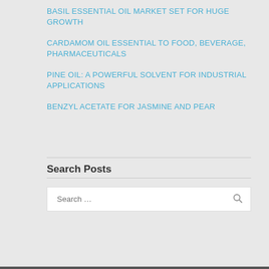BASIL ESSENTIAL OIL MARKET SET FOR HUGE GROWTH
CARDAMOM OIL ESSENTIAL TO FOOD, BEVERAGE, PHARMACEUTICALS
PINE OIL: A POWERFUL SOLVENT FOR INDUSTRIAL APPLICATIONS
BENZYL ACETATE FOR JASMINE AND PEAR
Search Posts
Search …